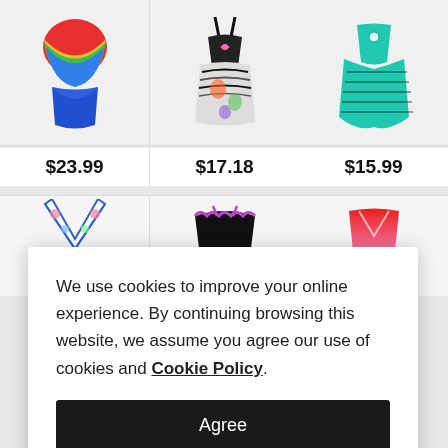[Figure (photo): Rainbow gradient flounce tankini swimsuit top with blue ruched bottoms, price $23.99]
[Figure (photo): Black and pink animal print skirted swimsuit with pink bow, price $17.18]
[Figure (photo): Teal striped handkerchief hem tankini swimsuit, price $15.99]
$23.99
$17.18
$15.99
[Figure (photo): White floral V-neck bikini with blue trim, partially visible]
[Figure (photo): Black scallop lace trim bralette bikini top, partially visible]
[Figure (photo): Red and pink ombre bikini top, partially visible]
We use cookies to improve your online experience. By continuing browsing this website, we assume you agree our use of cookies and Cookie Policy.
Agree